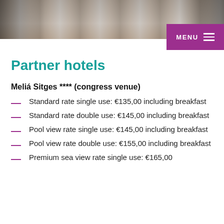[Figure (photo): Photo banner showing a hotel corridor/room interior]
Partner hotels
Meliá Sitges **** (congress venue)
Standard rate single use: €135,00 including breakfast
Standard rate double use: €145,00 including breakfast
Pool view rate single use: €145,00 including breakfast
Pool view rate double use: €155,00 including breakfast
Premium sea view rate single use: €165,00